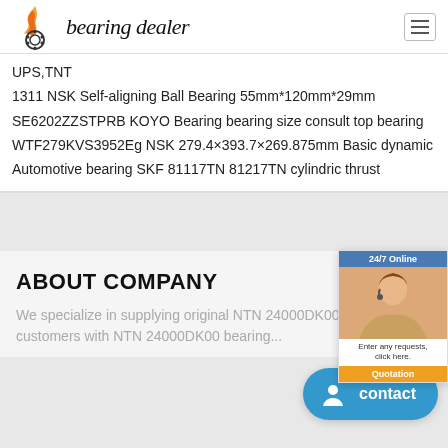bearing dealer
UPS,TNT
1311 NSK Self-aligning Ball Bearing 55mm*120mm*29mm
SE6202ZZSTPRB KOYO Bearing bearing size consult top bearing
WTF279KVS3952Eg NSK 279.4×393.7×269.875mm Basic dynamic
Automotive bearing SKF 81117TN 81217TN cylindric thrust
ABOUT COMPANY
We specialize in supplying original NTN 24000DK00 and provide customers with NTN 24000DK00 bearing...